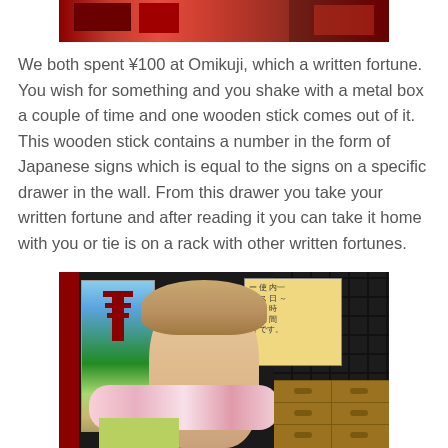[Figure (photo): Top portion of a photo showing a red Japanese temple/shrine building]
We both spent ¥100 at Omikuji, which a written fortune. You wish for something and you shake with a metal box a couple of time and one wooden stick comes out of it. This wooden stick contains a number in the form of Japanese signs which is equal to the signs on a specific drawer in the wall. From this drawer you take your written fortune and after reading it you can take it home with you or tie is on a rack with other written fortunes.
[Figure (photo): Photo of a blonde woman smiling in front of a Japanese temple, with a poster of a pagoda on the left, a Japanese notice board on the right, wooden drawers in the background, and dark tiled wall]